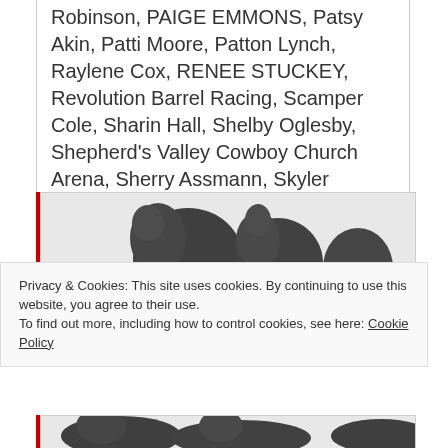Robinson, PAIGE EMMONS, Patsy Akin, Patti Moore, Patton Lynch, Raylene Cox, RENEE STUCKEY, Revolution Barrel Racing, Scamper Cole, Sharin Hall, Shelby Oglesby, Shepherd's Valley Cowboy Church Arena, Sherry Assmann, Skyler Nicholas, Stephanie Broom, Tasha Welsh, Texas, TONI JOYNER, TRACY GRAHAM, Wenda Johnson, Winnie Archer
[Figure (photo): Black and white photo of cowboys/western scene, partially visible]
Privacy & Cookies: This site uses cookies. By continuing to use this website, you agree to their use.
To find out more, including how to control cookies, see here: Cookie Policy
Close and accept
[Figure (photo): Black and white photo of western/rodeo scene, partially visible at bottom]